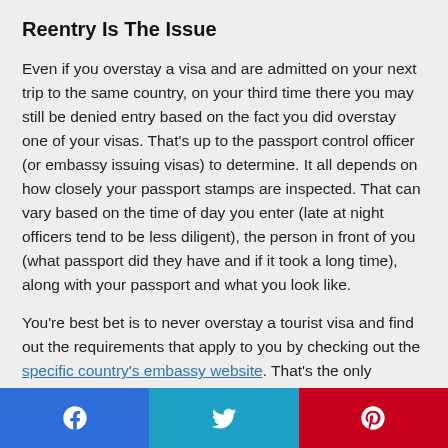Reentry Is The Issue
Even if you overstay a visa and are admitted on your next trip to the same country, on your third time there you may still be denied entry based on the fact you did overstay one of your visas. That's up to the passport control officer (or embassy issuing visas) to determine. It all depends on how closely your passport stamps are inspected. That can vary based on the time of day you enter (late at night officers tend to be less diligent), the person in front of you (what passport did they have and if it took a long time), along with your passport and what you look like.
You're best bet is to never overstay a tourist visa and find out the requirements that apply to you by checking out the specific country's embassy website. That's the only